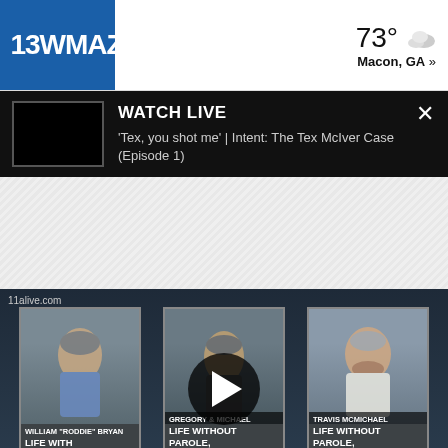13WMAZ CBS — 73° Macon, GA »
WATCH LIVE
'Tex, you shot me' | Intent: The Tex McIver Case (Episode 1)
[Figure (screenshot): News broadcast screenshot showing three mugshots: William 'Roddie' Bryan (Life With Parole), a second defendant (Life Without Parole, Plus 20 Years), and Travis McMichael (Life Without Parole, Plus 20 Years). Source: 11alive.com. A play button overlay is centered on the image.]